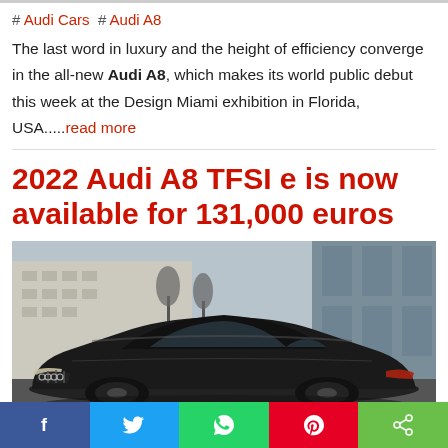# Audi Cars  # Audi A8
The last word in luxury and the height of efficiency converge in the all-new Audi A8, which makes its world public debut this week at the Design Miami exhibition in Florida, USA.....read more
2022 Audi A8 TFSI e is now available for 131,000 euros
[Figure (photo): Black Audi A8 luxury sedan photographed outdoors in front of a building, dark color, front three-quarter view showing grille and headlights]
f  t  WhatsApp  Pinterest  Share